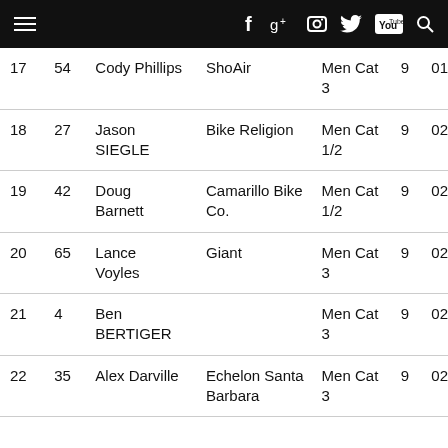Navigation bar with menu, social icons (Facebook, Google+, Instagram, Twitter, YouTube) and search
| Place | Bib | Name | Team | Category | Laps | Time |
| --- | --- | --- | --- | --- | --- | --- |
| 17 | 54 | Cody Phillips | ShoAir | Men Cat 3 | 9 | 01 |
| 18 | 27 | Jason SIEGLE | Bike Religion | Men Cat 1/2 | 9 | 02 |
| 19 | 42 | Doug Barnett | Camarillo Bike Co. | Men Cat 1/2 | 9 | 02 |
| 20 | 65 | Lance Voyles | Giant | Men Cat 3 | 9 | 02 |
| 21 | 4 | Ben BERTIGER |  | Men Cat 3 | 9 | 02 |
| 22 | 35 | Alex Darville | Echelon Santa Barbara | Men Cat 3 | 9 | 02 |